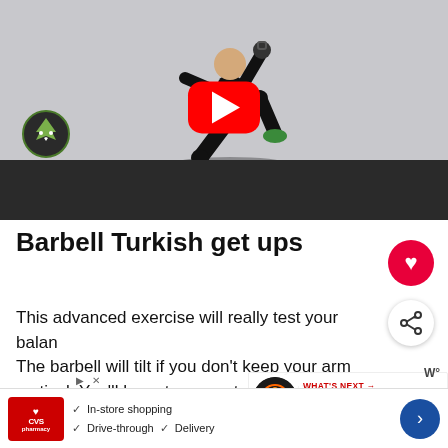[Figure (screenshot): YouTube video thumbnail showing a man performing a kettlebell lunge exercise in a gym with dark floor and light wall. A red YouTube play button is centered on the image. A green wolf logo is in the bottom left corner.]
Barbell Turkish get ups
This advanced exercise will really test your balance. The barbell will tilt if you don't keep your arm vertical. You'll have to pay extra attention to technique if you try this variation. Hold the barbell in the middle to increase the challenge of success.
[Figure (screenshot): What's Next overlay showing a kettlebell exercise thumbnail with text 'WHAT'S NEXT → How To Do The Kettlebe...']
[Figure (screenshot): CVS Pharmacy advertisement banner showing In-store shopping, Drive-through, and Delivery checkmarks with navigation arrow icon]